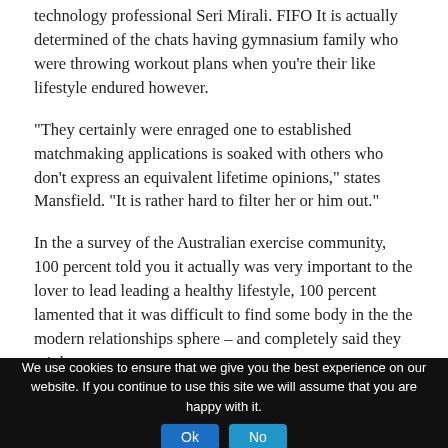technology professional Seri Mirali. FIFO It is actually determined of the chats having gymnasium family who were throwing workout plans when you’re their like lifestyle endured however.
“They certainly were enraged one to established matchmaking applications is soaked with others who don’t express an equivalent lifetime opinions,” states Mansfield. “It is rather hard to filter her or him out.”
In the a survey of the Australian exercise community, 100 percent told you it actually was very important to the lover to lead leading a healthy lifestyle, 100 percent lamented that it was difficult to find some body in the the modern relationships sphere – and completely said they might pay
We use cookies to ensure that we give you the best experience on our website. If you continue to use this site we will assume that you are happy with it.